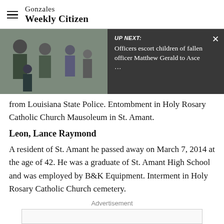Gonzales Weekly Citizen
[Figure (screenshot): Photo of people walking with UP NEXT overlay banner showing: 'Officers escort children of fallen officer Matthew Gerald to Asce …']
from Louisiana State Police. Entombment in Holy Rosary Catholic Church Mausoleum in St. Amant.
Leon, Lance Raymond
A resident of St. Amant he passed away on March 7, 2014 at the age of 42. He was a graduate of St. Amant High School and was employed by B&K Equipment. Interment in Holy Rosary Catholic Church cemetery.
Advertisement